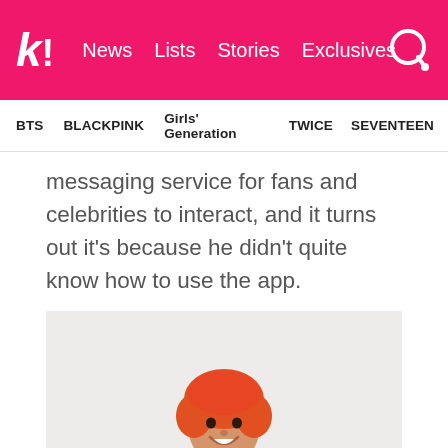k! News Lists Stories Exclusives
BTS  BLACKPINK  Girls' Generation  TWICE  SEVENTEEN
messaging service for fans and celebrities to interact, and it turns out it's because he didn't quite know how to use the app.
[Figure (photo): A young man with orange/red hair, smiling, wearing a white and red jacket with a yellow shirt and blue chain necklace, standing against a light gray/white background.]